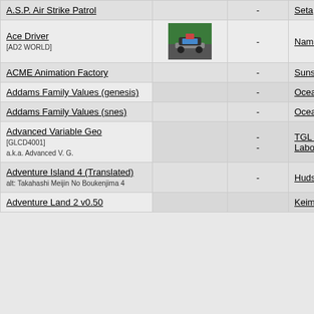| Title | Image |  | Publisher |
| --- | --- | --- | --- |
| A.S.P. Air Strike Patrol |  | - | Seta |
| Ace Driver [AD2 WORLD] | [image] | - | Namco |
| ACME Animation Factory |  | - | Sunsoft, Prob Software |
| Addams Family Values (genesis) |  | - | Ocean |
| Addams Family Values (snes) |  | - | Ocean |
| Advanced Variable Geo [GLCD4001] a.k.a. Advanced V. G. |  | -
- | TGL - Technical Group Laboratory |
| Adventure Island 4 (Translated)
alt: Takahashi Meijin No Boukenjima 4 |  | - | Hudson |
| Adventure Land 2 v0.50 |  |  | Keima |